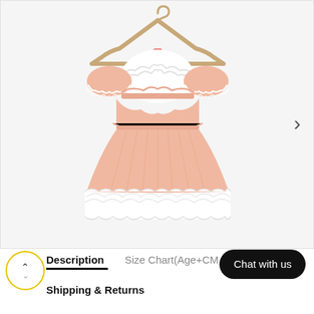[Figure (photo): A pink children's dress with white lace trim at the hem and sleeves, white chest panel with lace detail, puff sleeves with lace edge, gathered skirt, hanging on a wooden hanger against a white background.]
Description
Size Chart(Age+CM
Chat with us
Shipping & Returns